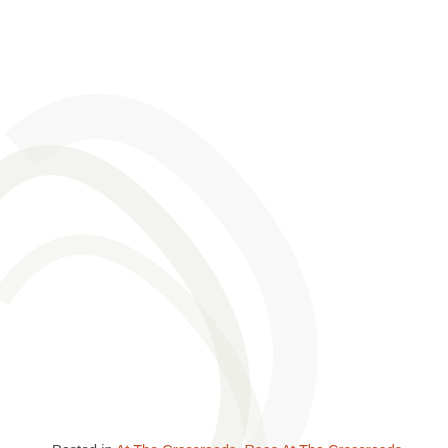[Figure (photo): White flower with green stems on white background, decorative website header image]
Posted in At The Crossroads, Race At The Crossroads • Leave a comment
Privacy & Cookies: This site uses cookies. By continuing to use this website, you agree to their use.
To find out more, including how to control cookies, see here: Cookie Policy
Close and accept